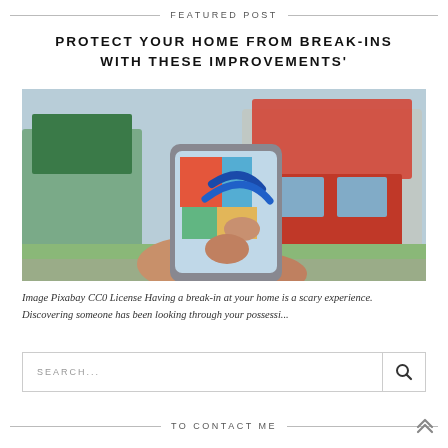FEATURED POST
PROTECT YOUR HOME FROM BREAK-INS WITH THESE IMPROVEMENTS'
[Figure (photo): Hands holding a smartphone pointed at a modern house with colorful architectural elements, suggesting a smart home security application]
Image Pixabay CC0 License Having a break-in at your home is a scary experience. Discovering someone has been looking through your possessi...
SEARCH...
TO CONTACT ME